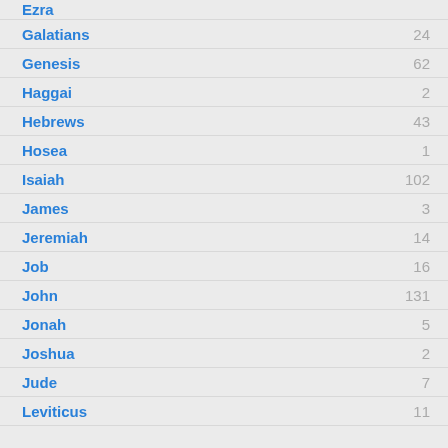Ezra
Galatians 24
Genesis 62
Haggai 2
Hebrews 43
Hosea 1
Isaiah 102
James 3
Jeremiah 14
Job 16
John 131
Jonah 5
Joshua 2
Jude 7
Leviticus 11